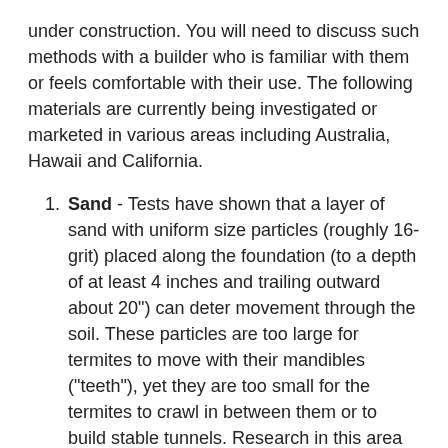under construction. You will need to discuss such methods with a builder who is familiar with them or feels comfortable with their use. The following materials are currently being investigated or marketed in various areas including Australia, Hawaii and California.
Sand - Tests have shown that a layer of sand with uniform size particles (roughly 16-grit) placed along the foundation (to a depth of at least 4 inches and trailing outward about 20") can deter movement through the soil. These particles are too large for termites to move with their mandibles ("teeth"), yet they are too small for the termites to crawl in between them or to build stable tunnels. Research in this area suggests that termites may on occasion breach these barriers and so routine inspection is still critical. The sand barrier should not be used as the sole means of termite protection and it is not currently approved as a "standalone" termite treatment in North Carolina. The fees are also